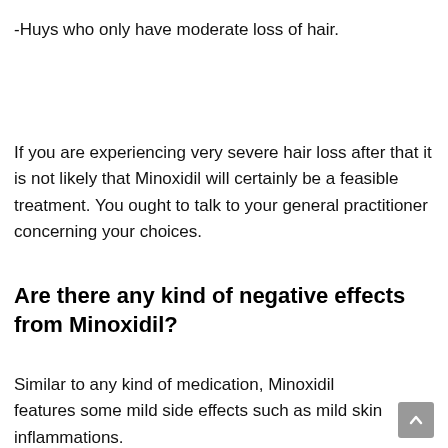-Huys who only have moderate loss of hair.
If you are experiencing very severe hair loss after that it is not likely that Minoxidil will certainly be a feasible treatment. You ought to talk to your general practitioner concerning your choices.
Are there any kind of negative effects from Minoxidil?
Similar to any kind of medication, Minoxidil features some mild side effects such as mild skin inflammations.